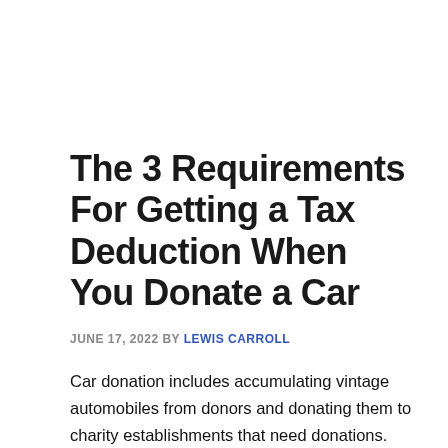The 3 Requirements For Getting a Tax Deduction When You Donate a Car
JUNE 17, 2022 BY LEWIS CARROLL
Car donation includes accumulating vintage automobiles from donors and donating them to charity establishments that need donations. Car donation businesses are basically intermediaries or hyperlinks between the donors and the individuals who are in the end benefited due to these donations. They help in funding public charities. Certain